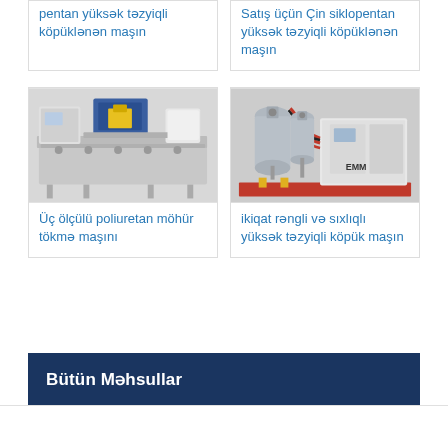pentan yüksək təzyiqli köpüklənən maşın
Satış üçün Çin siklopentan yüksək təzyiqli köpüklənən maşın
[Figure (photo): Industrial three-dimensional polyurethane seal casting machine with conveyor table]
Üç ölçülü poliuretan möhür tökmə maşını
[Figure (photo): EMM brand dual-color high pressure foam machine with tanks and hoses]
ikiqat rəngli və sıxlıqlı yüksək təzyiqli köpük maşın
Bütün Məhsullar